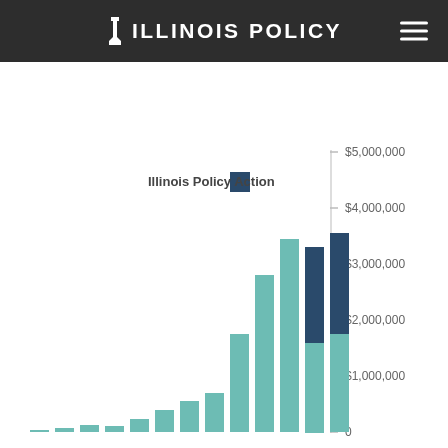Illinois Policy
[Figure (bar-chart): Illinois Policy Action]